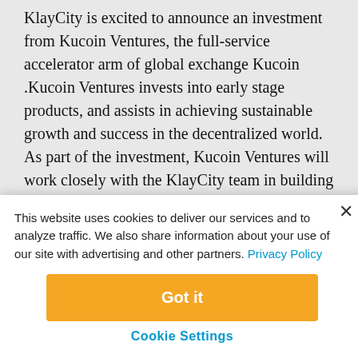KlayCity is excited to announce an investment from Kucoin Ventures, the full-service accelerator arm of global exchange Kucoin .Kucoin Ventures invests into early stage products, and assists in achieving sustainable growth and success in the decentralized world. As part of the investment, Kucoin Ventures will work closely with the KlayCity team in building and marketing the KlayCity virtual world.
KlayCity is a P2E game based in the year 2080 in a replicated earth. Built on the Klaytn Network, players utilize NFTs, $LAY tokens and $ORB tokens and participate in various activities including scavenging.
This website uses cookies to deliver our services and to analyze traffic. We also share information about your use of our site with advertising and other partners. Privacy Policy
Got it
Cookie Settings